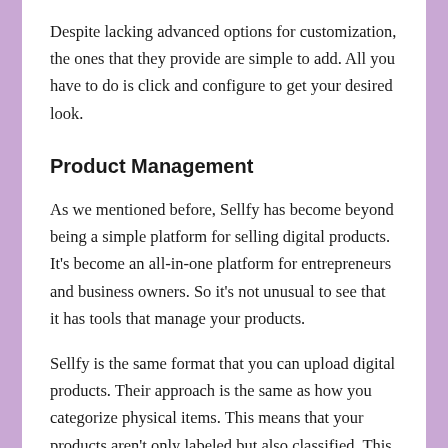Despite lacking advanced options for customization, the ones that they provide are simple to add. All you have to do is click and configure to get your desired look.
Product Management
As we mentioned before, Sellfy has become beyond being a simple platform for selling digital products. It's become an all-in-one platform for entrepreneurs and business owners. So it's not unusual to see that it has tools that manage your products.
Sellfy is the same format that you can upload digital products. Their approach is the same as how you categorize physical items. This means that your products aren't only labeled but also classified. This is a great way for you to manage your store.
There are no limits to how many items you can offer as bonuses. It is possible to upload as many items you'd like, even if you're